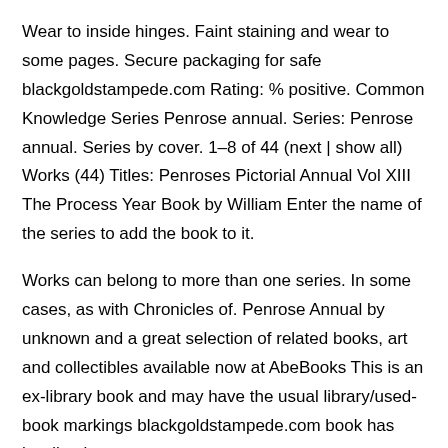Wear to inside hinges. Faint staining and wear to some pages. Secure packaging for safe blackgoldstampede.com Rating: % positive. Common Knowledge Series Penrose annual. Series: Penrose annual. Series by cover. 1–8 of 44 (next | show all) Works (44) Titles: Penroses Pictorial Annual Vol XIII The Process Year Book by William Enter the name of the series to add the book to it.
Works can belong to more than one series. In some cases, as with Chronicles of. Penrose Annual by unknown and a great selection of related books, art and collectibles available now at AbeBooks This is an ex-library book and may have the usual library/used-book markings blackgoldstampede.com book has hardback covers.
With usual stamps and markings, In good all round condition. Please note the Image in this listing is a stock. This is a hardcover book titled, "Penrose's Annual: The Process Year Book" edited by William Gamble.
This is Volume No. 20 from There are a total of pages of text, Penroses annual book, and advertisements. The outside of this book